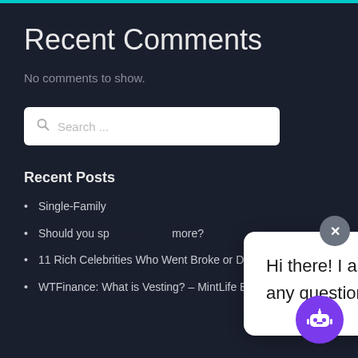Recent Comments
No comments to show.
Search ...
Recent Posts
Single-Family
Should you sp... more?
11 Rich Celebrities Who Went Broke or Declared Ban...
WTFinance: What is Vesting? – MintLife Blog
Hi there! I am a customer support advisor. Let me know if you have any questions or need assistance, ok?